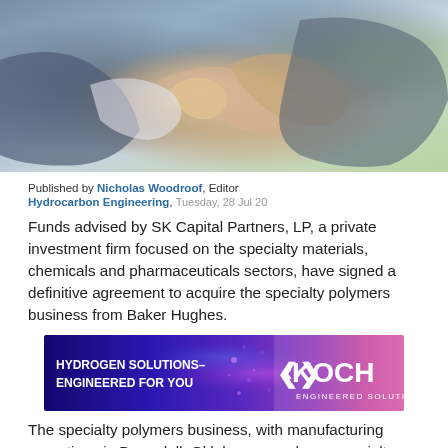[Figure (photo): Close-up photograph of two people in business suits shaking hands, blurred background with green and grey tones.]
Published by Nicholas Woodroof, Editor
Hydrocarbon Engineering, Tuesday, 28 Jul 20
Funds advised by SK Capital Partners, LP, a private investment firm focused on the specialty materials, chemicals and pharmaceuticals sectors, have signed a definitive agreement to acquire the specialty polymers business from Baker Hughes.
[Figure (advertisement): Koch Engineered Solutions advertisement: Hydrogen Solutions – Engineered For You]
The specialty polymers business, with manufacturing operations in Barnsdall, Oklahoma, produces specialty low molecular weight